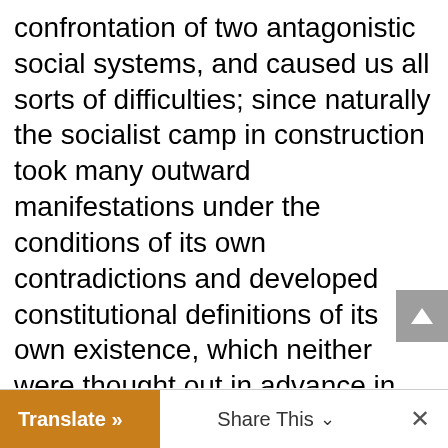confrontation of two antagonistic social systems, and caused us all sorts of difficulties; since naturally the socialist camp in construction took many outward manifestations under the conditions of its own contradictions and developed constitutional definitions of its own existence, which neither were thought out in advance in the ideal typical programme of socialism nor had to be necessary conditions of socialist development in other countries. But the camp existed and we were self-evidently in solidarity with it. It is also a fact, that that line was correct. It was logically and politically
Translate »   Share This   ×